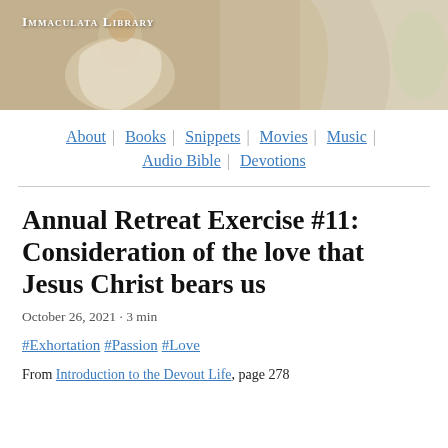[Figure (illustration): Header banner with a classical painting of a robed figure (saint or pope) with draped fabric and light background, site header for Immaculata Library]
Immaculata Library
About | Books | Snippets | Movies | Music | Audio Bible | Devotions
Annual Retreat Exercise #11: Consideration of the love that Jesus Christ bears us
October 26, 2021 · 3 min
#Exhortation #Passion #Love
From Introduction to the Devout Life, page 278